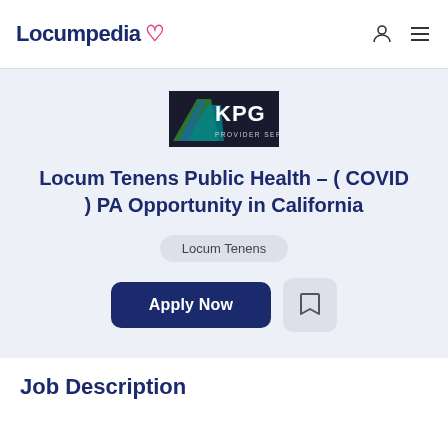Locumpedia
[Figure (logo): KPG Provider Services logo — dark background with green/blue road graphic and white KPG text]
Locum Tenens Public Health – ( COVID ) PA Opportunity in California
Locum Tenens
Apply Now
Job Description